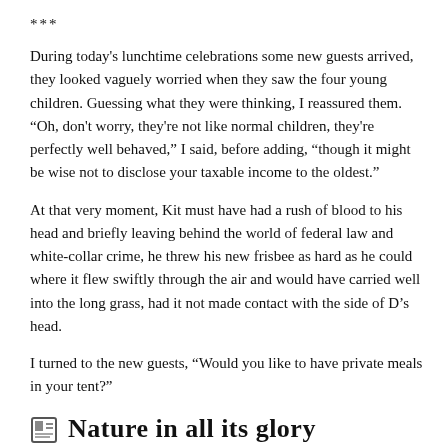***
During today's lunchtime celebrations some new guests arrived, they looked vaguely worried when they saw the four young children. Guessing what they were thinking, I reassured them. “Oh, don't worry, they're not like normal children, they're perfectly well behaved,” I said, before adding, “though it might be wise not to disclose your taxable income to the oldest.”
At that very moment, Kit must have had a rush of blood to his head and briefly leaving behind the world of federal law and white-collar crime, he threw his new frisbee as hard as he could where it flew swiftly through the air and would have carried well into the long grass, had it not made contact with the side of D’s head.
I turned to the new guests, “Would you like to have private meals in your tent?”
Nature in all its glory